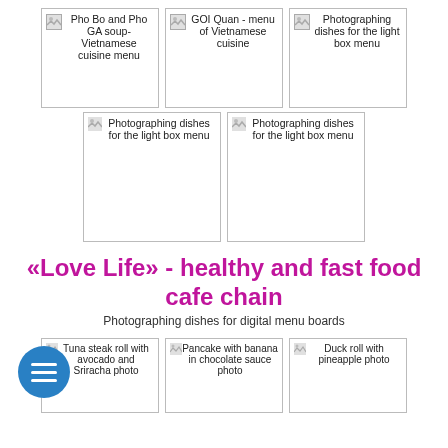[Figure (photo): Image card: Pho Bo and Pho GA soup-Vietnamese cuisine menu]
[Figure (photo): Image card: GOI Quan - menu of Vietnamese cuisine]
[Figure (photo): Image card: Photographing dishes for the light box menu]
[Figure (photo): Image card: Photographing dishes for the light box menu]
[Figure (photo): Image card: Photographing dishes for the light box menu]
«Love Life» - healthy and fast food cafe chain
Photographing dishes for digital menu boards
[Figure (photo): Image card: Tuna steak roll with avocado and Sriracha photo]
[Figure (photo): Image card: Pancake with banana in chocolate sauce photo]
[Figure (photo): Image card: Duck roll with pineapple photo]